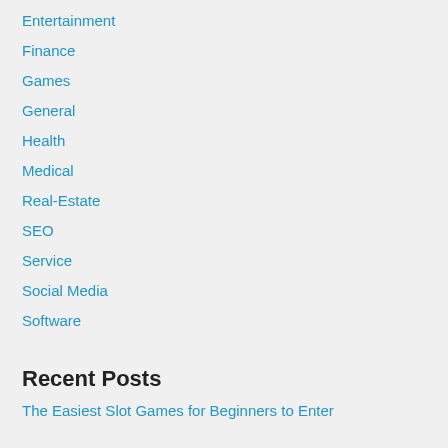Entertainment
Finance
Games
General
Health
Medical
Real-Estate
SEO
Service
Social Media
Software
Recent Posts
The Easiest Slot Games for Beginners to Enter